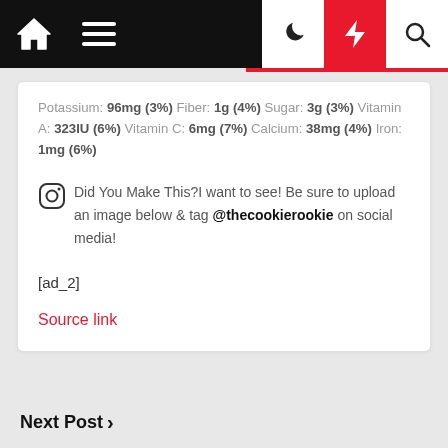Navigation bar with home, menu, dark mode, lightning, and search icons
Potassium: 96mg (3%) Fiber: 1g (4%) Sugar: 3g (3%) Vitamin A: 323IU (6%) Vitamin C: 6mg (7%) Calcium: 38mg (4%) Iron: 1mg (6%)
Did You Make This? I want to see! Be sure to upload an image below & tag @thecookierookie on social media!
[ad_2]
Source link
Next Post ›